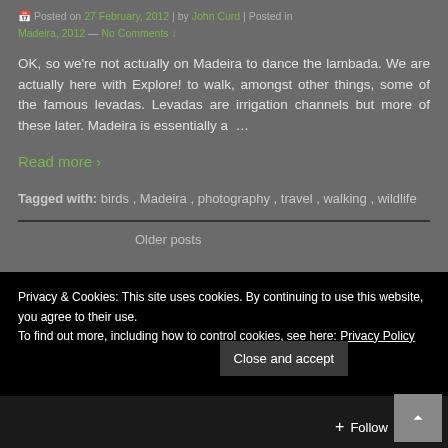Posted on  27  February,  2012  |  by  John  Curd  |  Posted in  Madeira, 2012  —  No Comments ↓
OK, so we're not actually on Madeira to dance the lambada. We are actually here with Explore! to walk, amongst other things, some of the famous levadas. Levadas are irrigation channels but more of these later. Madeira is essentially a  …
Read more ›
Tagged with:  birds ,  Madeira ,  photography ,  travel ,  walking ,  wildlife
Older posts
Privacy & Cookies: This site uses cookies. By continuing to use this website, you agree to their use.
To find out more, including how to control cookies, see here: Privacy Policy
Close and accept
The ISA Myth
+ Follow